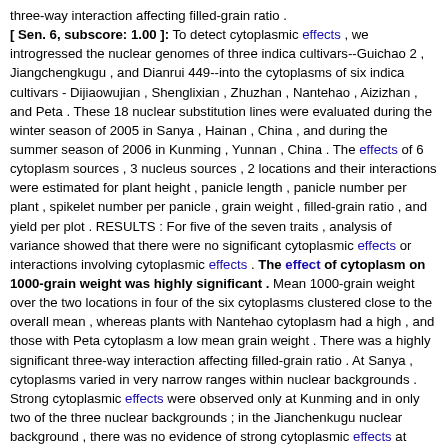three-way interaction affecting filled-grain ratio . [ Sen. 6, subscore: 1.00 ]: To detect cytoplasmic effects , we introgressed the nuclear genomes of three indica cultivars--Guichao 2 , Jiangchengkugu , and Dianrui 449--into the cytoplasms of six indica cultivars - Dijiaowujian , Shenglixian , Zhuzhan , Nantehao , Aizizhan , and Peta . These 18 nuclear substitution lines were evaluated during the winter season of 2005 in Sanya , Hainan , China , and during the summer season of 2006 in Kunming , Yunnan , China . The effects of 6 cytoplasm sources , 3 nucleus sources , 2 locations and their interactions were estimated for plant height , panicle length , panicle number per plant , spikelet number per panicle , grain weight , filled-grain ratio , and yield per plot . RESULTS : For five of the seven traits , analysis of variance showed that there were no significant cytoplasmic effects or interactions involving cytoplasmic effects . The effect of cytoplasm on 1000-grain weight was highly significant . Mean 1000-grain weight over the two locations in four of the six cytoplasms clustered close to the overall mean , whereas plants with Nantehao cytoplasm had a high , and those with Peta cytoplasm a low mean grain weight . There was a highly significant three-way interaction affecting filled-grain ratio . At Sanya , cytoplasms varied in very narrow ranges within nuclear backgrounds . Strong cytoplasmic effects were observed only at Kunming and in only two of the three nuclear backgrounds ; in the Jianchenkugu nuclear background , there was no evidence of strong cytoplasmic effects at either location . [ Sen. 12, subscore: 1.00 ]: There was a highly significant three-way interaction affecting filled-grain ratio . At Sanya , cytoplasms varied in very narrow ranges within nuclear backgrounds . Strong cytoplasmic effects were observed only at Kunming and in only two of the three nuclear backgrounds ; in the Jianchenkugu nuclear background , there was no evidence of strong cytoplasmic effects at either location . In the